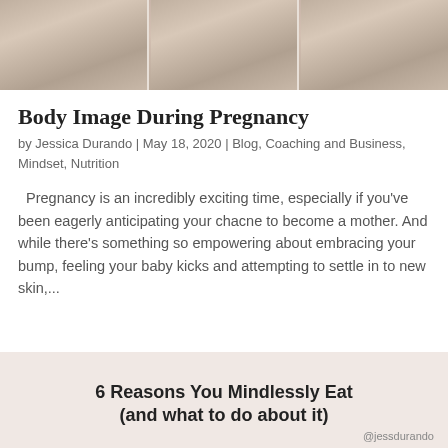[Figure (photo): Three-panel photo strip showing a pregnant woman's torso/body from different angles, with a wooden table or surface visible at the bottom.]
Body Image During Pregnancy
by Jessica Durando | May 18, 2020 | Blog, Coaching and Business, Mindset, Nutrition
Pregnancy is an incredibly exciting time, especially if you've been eagerly anticipating your chacne to become a mother. And while there's something so empowering about embracing your bump, feeling your baby kicks and attempting to settle in to new skin,...
6 Reasons You Mindlessly Eat (and what to do about it)
@jessdurando